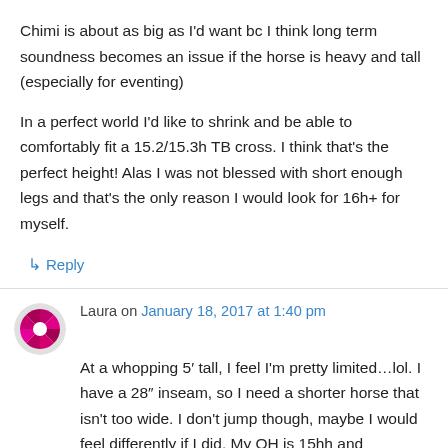Chimi is about as big as I'd want bc I think long term soundness becomes an issue if the horse is heavy and tall (especially for eventing)
In a perfect world I'd like to shrink and be able to comfortably fit a 15.2/15.3h TB cross. I think that's the perfect height! Alas I was not blessed with short enough legs and that's the only reason I would look for 16h+ for myself.
↳ Reply
Laura on January 18, 2017 at 1:40 pm
At a whopping 5′ tall, I feel I'm pretty limited…lol. I have a 28″ inseam, so I need a shorter horse that isn't too wide. I don't jump though, maybe I would feel differently if I did. My OH is 15hh and